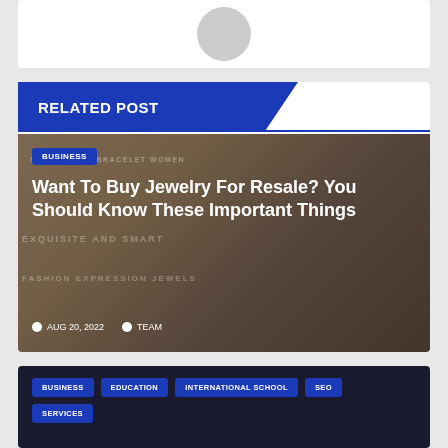[Figure (photo): Avatar/profile image placeholder (grey circle on white card)]
RELATED POST
[Figure (photo): Jewelry bracelet product image with overlay text watermarks (SMILEY FACE BRACELET WOMEN, EXQUISITE AND SMART, FASHION EXPRESSION JEWELS)]
BUSINESS
Want To Buy Jewelry For Resale? You Should Know These Important Things
AUG 20, 2022   TEAM
BUSINESS
EDUCATION
INTERNATIONAL SCHOOL
SEO
SERVICES